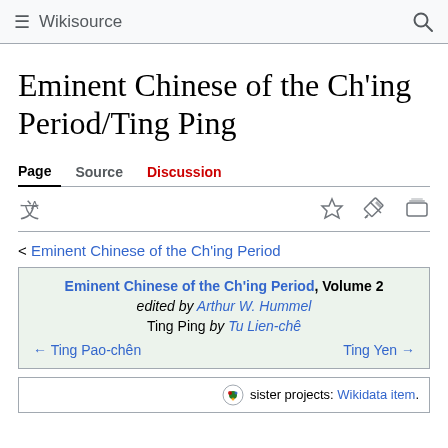Wikisource
Eminent Chinese of the Ch'ing Period/Ting Ping
Page  Source  Discussion
< Eminent Chinese of the Ch'ing Period
| Eminent Chinese of the Ch'ing Period, Volume 2 |
| edited by Arthur W. Hummel |
| Ting Ping by Tu Lien-chê |
| ← Ting Pao-chên | Ting Yen → |
sister projects: Wikidata item.